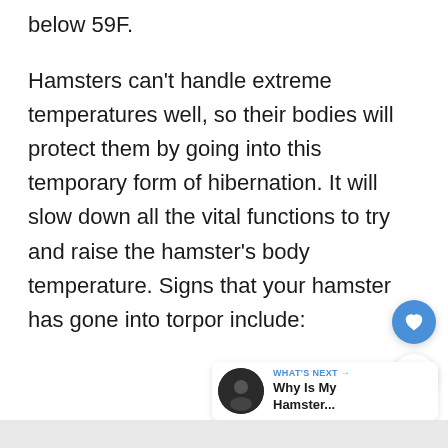below 59F.
Hamsters can't handle extreme temperatures well, so their bodies will protect them by going into this temporary form of hibernation. It will slow down all the vital functions to try and raise the hamster's body temperature. Signs that your hamster has gone into torpor include:
[Figure (screenshot): What's Next widget showing a thumbnail image and text 'Why Is My Hamster...']